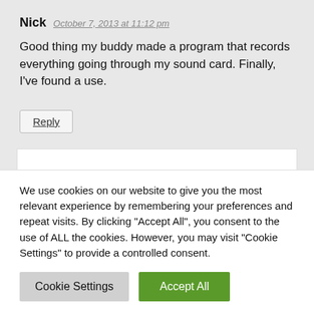Nick   October 7, 2013 at 11:12 pm
Good thing my buddy made a program that records everything going through my sound card. Finally, I've found a use.
Reply
Lonzey   October 7, 2013 at 11:12 pm
We use cookies on our website to give you the most relevant experience by remembering your preferences and repeat visits. By clicking "Accept All", you consent to the use of ALL the cookies. However, you may visit "Cookie Settings" to provide a controlled consent.
Cookie Settings
Accept All